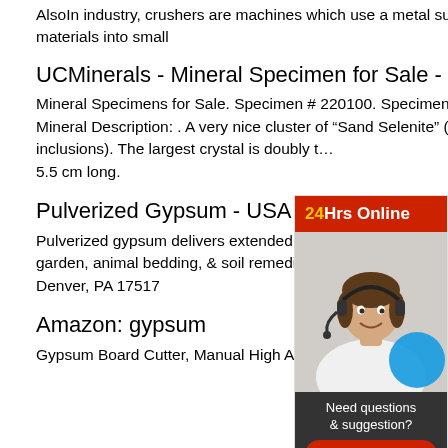AlsoIn industry, crushers are machines which use a metal surface to break or compress materials into small
UCMinerals - Mineral Specimen for Sale - Gypsum (Selenite)
Mineral Specimens for Sale. Specimen # 220100. Specimen Locality: Jet, Oklahoma Mineral Description: . A very nice cluster of “Sand Selenite” (Gypsum with sand inclusions). The largest crystal is doubly t... 5.5 cm long.
Pulverized Gypsum - USA Gypsu...
Pulverized gypsum delivers extended rel... variable particle sizes. Perfect for agricult... garden, animal bedding, & soil remediatio... 335-0379 Fax: 717-335-2561 | 1368 Wes... Denver, PA 17517
Amazon: gypsum
Gypsum Board Cutter, Manual High Accu...
[Figure (other): Chat widget overlay showing '24Hrs Online' header in red, a woman wearing a headset, a blue circle element, and a dark panel with 'Need questions & suggestion? Chat Now' button in red, and an Enquire bar at the bottom.]